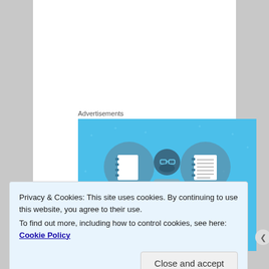Advertisements
[Figure (illustration): Day One journaling app advertisement. Light blue background with a cartoon figure of a person holding a phone, flanked by two circular icons showing notebook pages. Text reads 'DAY ONE' and 'The only journaling app you'll ever need.']
Privacy & Cookies: This site uses cookies. By continuing to use this website, you agree to their use.
To find out more, including how to control cookies, see here: Cookie Policy
Close and accept